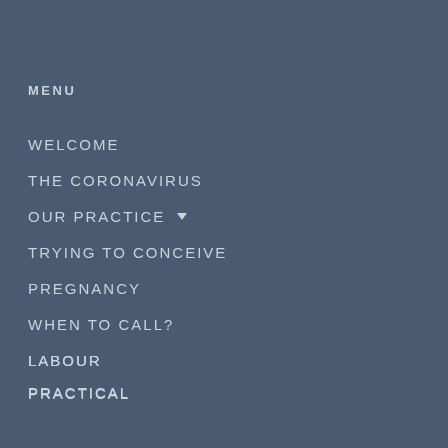MENU
WELCOME
THE CORONAVIRUS
OUR PRACTICE ▼
TRYING TO CONCEIVE
PREGNANCY
WHEN TO CALL?
LABOUR
PRACTICAL
CONTACT
LOCATIONS
Boothstraat